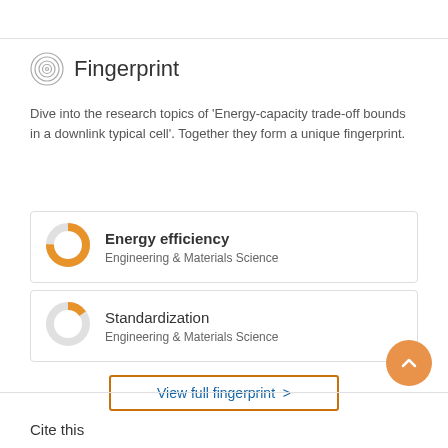Fingerprint
Dive into the research topics of 'Energy-capacity trade-off bounds in a downlink typical cell'. Together they form a unique fingerprint.
Energy efficiency — Engineering & Materials Science
Standardization — Engineering & Materials Science
View full fingerprint >
Cite this